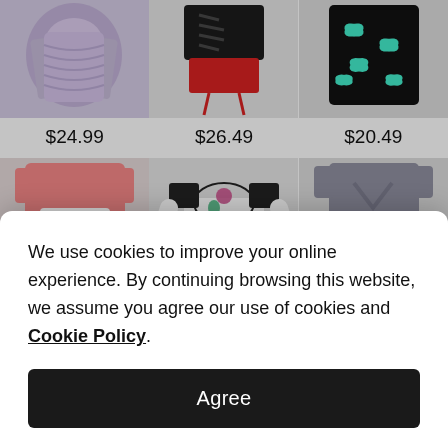[Figure (photo): Purple ruffled top product photo]
$24.99
[Figure (photo): Black and red cinched top product photo]
$26.49
[Figure (photo): Black and teal butterfly print dress product photo]
$20.49
[Figure (photo): Pink floral print top product photo]
[Figure (photo): White cold shoulder top with black lace product photo]
[Figure (photo): Gray and mauve twist-front top product photo]
We use cookies to improve your online experience. By continuing browsing this website, we assume you agree our use of cookies and Cookie Policy.
Agree